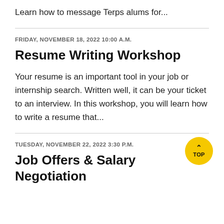Learn how to message Terps alums for...
FRIDAY, NOVEMBER 18, 2022 10:00 A.M.
Resume Writing Workshop
Your resume is an important tool in your job or internship search. Written well, it can be your ticket to an interview. In this workshop, you will learn how to write a resume that...
TUESDAY, NOVEMBER 22, 2022 3:30 P.M.
Job Offers & Salary Negotiation